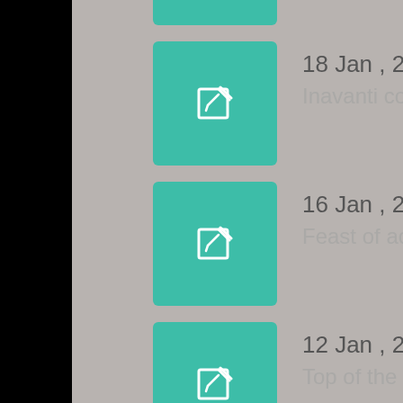18 Jan , 2016 — Inavanti comes in!
16 Jan , 2016 — Feast of action!
12 Jan , 2016 — Top of the pile!
07 Jan , 2016 — Weekend update
03 Jan , 2016 — Double delight!